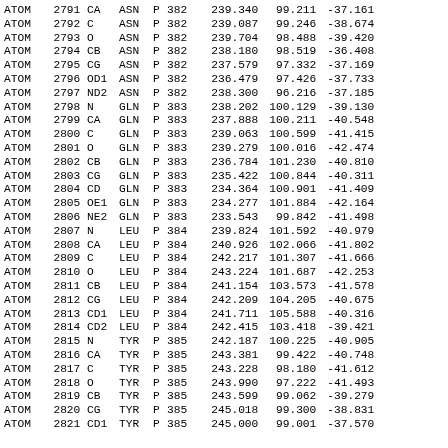| ATOM | serial | name | resName | chainID | resSeq |  | x | y | z |  |
| --- | --- | --- | --- | --- | --- | --- | --- | --- | --- | --- |
| ATOM | 2791 | CA  | ASN | P | 382 |  | 239.340 | 99.211 | -37.161 |  |
| ATOM | 2792 | C   | ASN | P | 382 |  | 239.087 | 99.246 | -38.674 |  |
| ATOM | 2793 | O   | ASN | P | 382 |  | 239.704 | 98.488 | -39.420 |  |
| ATOM | 2794 | CB  | ASN | P | 382 |  | 238.180 | 98.519 | -36.408 |  |
| ATOM | 2795 | CG  | ASN | P | 382 |  | 237.579 | 97.332 | -37.169 |  |
| ATOM | 2796 | OD1 | ASN | P | 382 |  | 236.479 | 97.426 | -37.733 |  |
| ATOM | 2797 | ND2 | ASN | P | 382 |  | 238.300 | 96.216 | -37.185 |  |
| ATOM | 2798 | N   | GLN | P | 383 |  | 238.202 | 100.129 | -39.130 |  |
| ATOM | 2799 | CA  | GLN | P | 383 |  | 237.888 | 100.211 | -40.548 |  |
| ATOM | 2800 | C   | GLN | P | 383 |  | 239.063 | 100.599 | -41.415 |  |
| ATOM | 2801 | O   | GLN | P | 383 |  | 239.279 | 100.016 | -42.474 |  |
| ATOM | 2802 | CB  | GLN | P | 383 |  | 236.784 | 101.230 | -40.810 |  |
| ATOM | 2803 | CG  | GLN | P | 383 |  | 235.422 | 100.844 | -40.311 |  |
| ATOM | 2804 | CD  | GLN | P | 383 |  | 234.364 | 100.901 | -41.409 |  |
| ATOM | 2805 | OE1 | GLN | P | 383 |  | 234.277 | 101.884 | -42.164 |  |
| ATOM | 2806 | NE2 | GLN | P | 383 |  | 233.543 | 99.842 | -41.498 |  |
| ATOM | 2807 | N   | LEU | P | 384 |  | 239.824 | 101.592 | -40.979 |  |
| ATOM | 2808 | CA  | LEU | P | 384 |  | 240.926 | 102.066 | -41.802 |  |
| ATOM | 2809 | C   | LEU | P | 384 |  | 242.217 | 101.307 | -41.666 |  |
| ATOM | 2810 | O   | LEU | P | 384 |  | 243.224 | 101.687 | -42.253 |  |
| ATOM | 2811 | CB  | LEU | P | 384 |  | 241.154 | 103.573 | -41.578 |  |
| ATOM | 2812 | CG  | LEU | P | 384 |  | 242.209 | 104.205 | -40.675 |  |
| ATOM | 2813 | CD1 | LEU | P | 384 |  | 241.711 | 105.588 | -40.316 |  |
| ATOM | 2814 | CD2 | LEU | P | 384 |  | 242.415 | 103.418 | -39.421 |  |
| ATOM | 2815 | N   | TYR | P | 385 |  | 242.187 | 100.225 | -40.905 |  |
| ATOM | 2816 | CA  | TYR | P | 385 |  | 243.381 | 99.422 | -40.748 |  |
| ATOM | 2817 | C   | TYR | P | 385 |  | 243.228 | 98.180 | -41.612 |  |
| ATOM | 2818 | O   | TYR | P | 385 |  | 243.990 | 97.222 | -41.493 |  |
| ATOM | 2819 | CB  | TYR | P | 385 |  | 243.599 | 99.062 | -39.279 |  |
| ATOM | 2820 | CG  | TYR | P | 385 |  | 245.018 | 99.300 | -38.831 |  |
| ATOM | 2821 | CD1 | TYR | P | 385 |  | 245.000 | 99.001 | -37.570 |  |